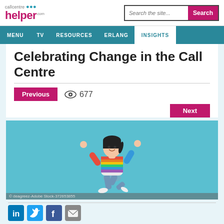callcentre helper.com — Search the site... Search
MENU  TV  RESOURCES  ERLANG  INSIGHTS
Celebrating Change in the Call Centre
Previous  677  Next
[Figure (photo): Young woman in colorful striped sweater jumping joyfully against a light blue background. © deagreez-Adobe Stock-372653855]
Social share icons: LinkedIn, Twitter, Facebook, Email